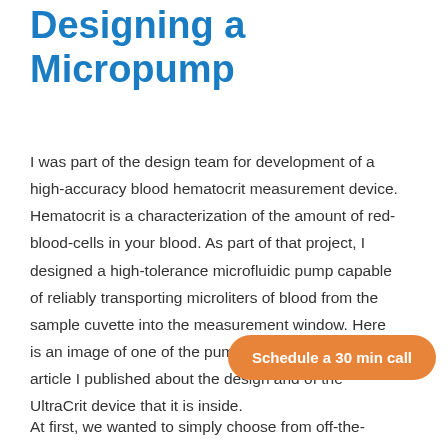Designing a Micropump
I was part of the design team for development of a high-accuracy blood hematocrit measurement device. Hematocrit is a characterization of the amount of red-blood-cells in your blood. As part of that project, I designed a high-tolerance microfluidic pump capable of reliably transporting microliters of blood from the sample cuvette into the measurement window. Here is an image of one of the pump prototypes from an article I published about the design and of the UltraCrit device that it is inside.
Schedule a 30 min call
At first, we wanted to simply choose from off-the-